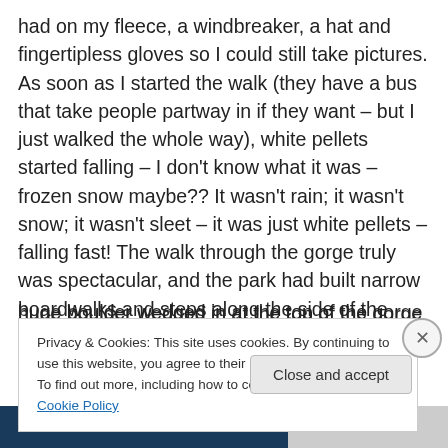had on my fleece, a windbreaker, a hat and fingertipless gloves so I could still take pictures. As soon as I started the walk (they have a bus that take people partway in if they want – but I just walked the whole way), white pellets started falling – I don't know what it was – frozen snow maybe?? It wasn't rain; it wasn't snow; it wasn't sleet – it was just white pellets – falling fast! The walk through the gorge truly was spectacular, and the park had built narrow boardwalks and steps along the side of the gorge above the river. Up until about the mid-1800s there also was a huge boulder wedged in at the top of the gorge (they had
Privacy & Cookies: This site uses cookies. By continuing to use this website, you agree to their use.
To find out more, including how to control cookies, see here: Cookie Policy
Close and accept